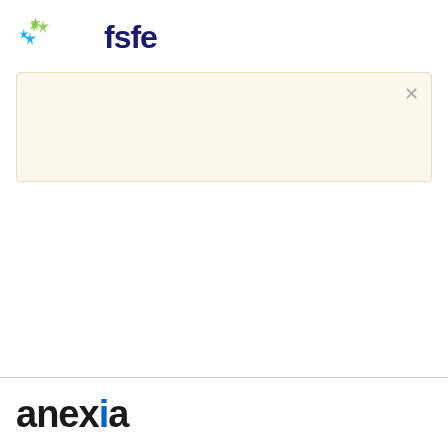[Figure (logo): FSFE logo with colorful four-pointed star shapes and 'fsfe' text in dark blue]
[Figure (other): Pale yellow notification/banner box with an X close button in the top right corner]
[Figure (logo): Anexia logo in bold dark text with a blue dot over the letter i]